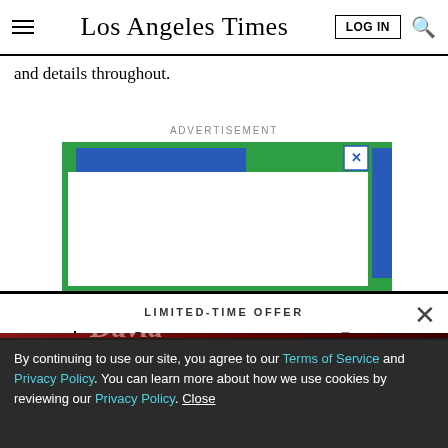Los Angeles Times — LOG IN | Search
and details throughout.
ADVERTISEMENT
[Figure (screenshot): Advertisement box with green background, blue accent, white inner area, and close (X) button]
LIMITED-TIME OFFER
$1 for 6 Months
SUBSCRIBE NOW
By continuing to use our site, you agree to our Terms of Service and Privacy Policy. You can learn more about how we use cookies by reviewing our Privacy Policy. Close